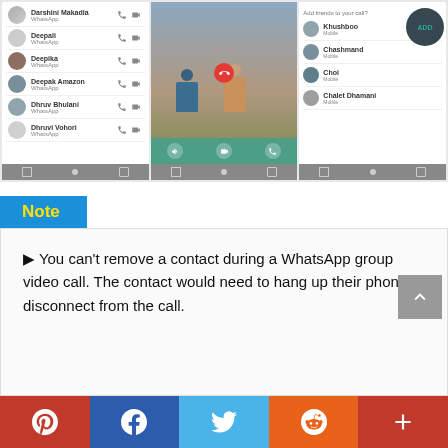[Figure (screenshot): Three smartphone screenshots showing WhatsApp contacts list, a group video call in progress with two people, and an 'Add to group call' screen with an ADD button.]
Note
You can't remove a contact during a WhatsApp group video call. The contact would need to hang up their phone to disconnect from the call.
[Figure (infographic): Social sharing bar with Pinterest, Facebook, Twitter, Reddit, and More buttons.]